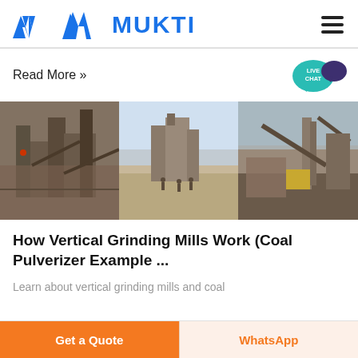MUKTI
Read More »
[Figure (photo): Three industrial images of vertical grinding mill / coal pulverizer facilities and mining/construction equipment]
How Vertical Grinding Mills Work (Coal Pulverizer Example ...
Learn about vertical grinding mills and coal
Get a Quote
WhatsApp